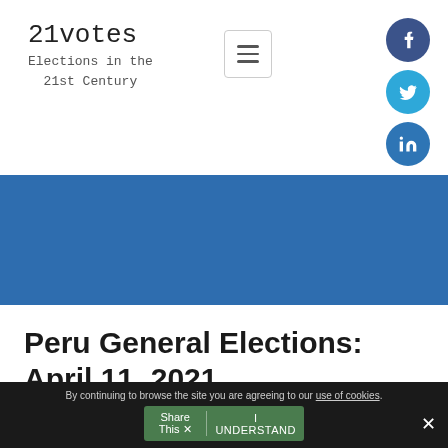21votes
Elections in the 21st Century
[Figure (screenshot): Blue banner/hero image area]
Peru General Elections: April 11, 2021
By continuing to browse the site you are agreeing to our use of cookies. Share This | I UNDERSTAND ×